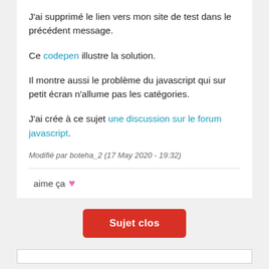J'ai supprimé le lien vers mon site de test dans le précédent message.
Ce codepen illustre la solution.
Il montre aussi le problème du javascript qui sur petit écran n'allume pas les catégories.
J'ai crée à ce sujet une discussion sur le forum javascript.
Modifié par boteha_2 (17 May 2020 - 19:32)
aime ça ♥
Sujet clos